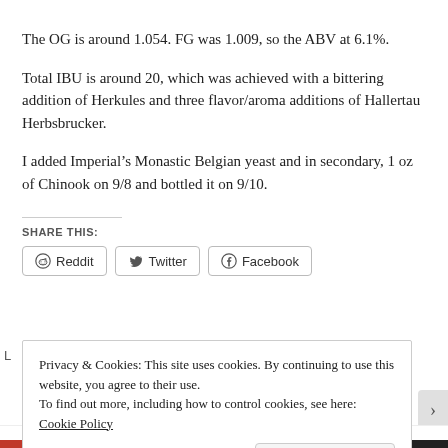The OG is around 1.054. FG was 1.009, so the ABV at 6.1%.
Total IBU is around 20, which was achieved with a bittering addition of Herkules and three flavor/aroma additions of Hallertau Herbsbrucker.
I added Imperial’s Monastic Belgian yeast and in secondary, 1 oz of Chinook on 9/8 and bottled it on 9/10.
SHARE THIS:
Reddit   Twitter   Facebook
Privacy & Cookies: This site uses cookies. By continuing to use this website, you agree to their use.
To find out more, including how to control cookies, see here: Cookie Policy
Close and accept
Advertisements